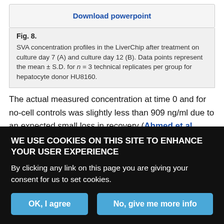[Figure (other): Download powerpoint button/link in a bordered box]
Fig. 8.
SVA concentration profiles in the LiverChip after treatment on culture day 7 (A) and culture day 12 (B). Data points represent the mean ± S.D. for n = 3 technical replicates per group for hepatocyte donor HU8160.
The actual measured concentration at time 0 and for no-cell controls was slightly less than 909 ng/ml due to an expected small loss in recovery (Ahmed et al., 2012). The SVA half-life was found to be 5.0 ± 0.3 hours on day 7 and 4.9 ± 0.3 hours on day 12. Under inflammatory conditions with 1 ng/ml IL-6, the mean SVA half-life was
WE USE COOKIES ON THIS SITE TO ENHANCE YOUR USER EXPERIENCE
By clicking any link on this page you are giving your consent for us to set cookies.